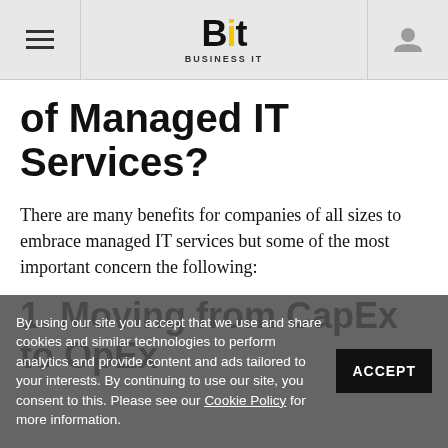Bit Business IT
of Managed IT Services?
There are many benefits for companies of all sizes to embrace managed IT services but some of the most important concern the following:
1. Moving from CapEx to OpEx
By using our site you accept that we use and share cookies and similar technologies to perform analytics and provide content and ads tailored to your interests. By continuing to use our site, you consent to this. Please see our Cookie Policy for more information.